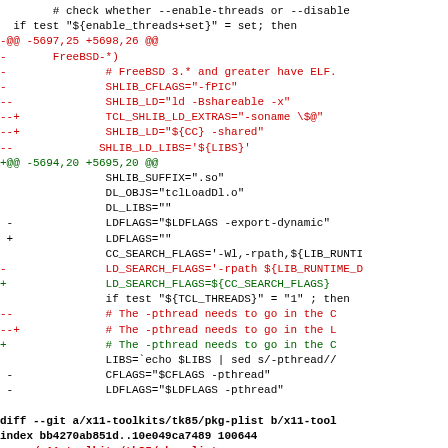Diff/patch code showing changes to shell script and pkg-plist file in x11-toolkits/tk85